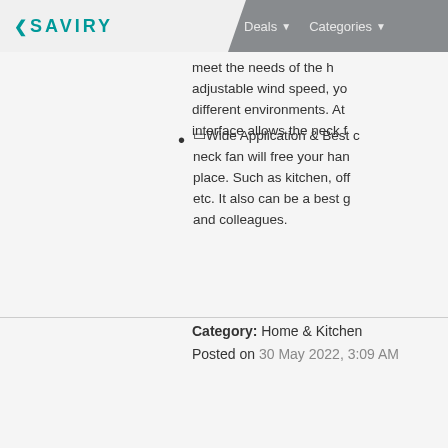< SAVIRY   Deals ▾   Categories ▾
meet the needs of the h... adjustable wind speed, yo... different environments. At... interface allows the neck f...
⬜Wide Application & Best ... neck fan will free your han... place. Such as kitchen, off... etc. It also can be a best g... and colleagues.
Category: Home & Kitchen
Posted on 30 May 2022, 3:09 AM